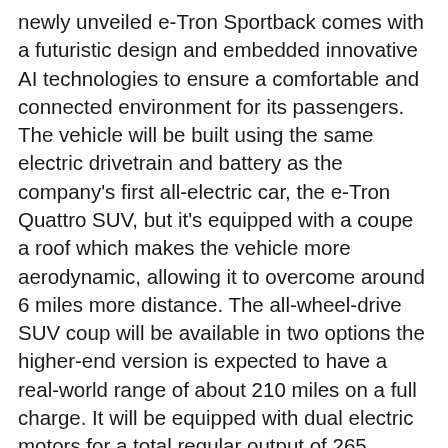newly unveiled e-Tron Sportback comes with a futuristic design and embedded innovative AI technologies to ensure a comfortable and connected environment for its passengers. The vehicle will be built using the same electric drivetrain and battery as the company's first all-electric car, the e-Tron Quattro SUV, but it's equipped with a coupe a roof which makes the vehicle more aerodynamic, allowing it to overcome around 6 miles more distance. The all-wheel-drive SUV coup will be available in two options the higher-end version is expected to have a real-world range of about 210 miles on a full charge. It will be equipped with dual electric motors for a total regular output of 265 kilowatts and 414 pound-feet of torque. The new electric coupe a crossover features an innovative lighting technology with digitally controlled matrix LED units at the front and rear, which can produce excellent light combinations enabling the vehicle to communicate visually with the surroundings. The Audi e-Tron Sportback will have a starting price of about $78,000.